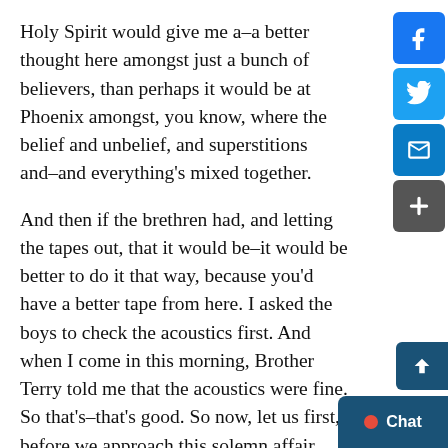Holy Spirit would give me a–a better thought here amongst just a bunch of believers, than perhaps it would be at Phoenix amongst, you know, where the belief and unbelief, and superstitions and–and everything's mixed together.
And then if the brethren had, and letting the tapes out, that it would be–it would be better to do it that way, because you'd have a better tape from here. I asked the boys to check the acoustics first. And when I come in this morning, Brother Terry told me that the acoustics were fine. So that's–that's good. So now, let us first, before we approach this solemn affair, and I know…
16 I believe they said some of you are staying for lunch, going to have lunch here on the ground of the house, or something, together. That's very fine. I